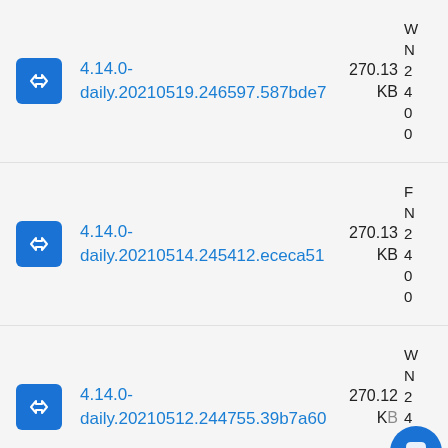4.14.0-daily.20210519.246597.587bde7  270.13 KB
4.14.0-daily.20210514.245412.ececa51  270.13 KB
4.14.0-daily.20210512.244755.39b7a60  270.12 KB